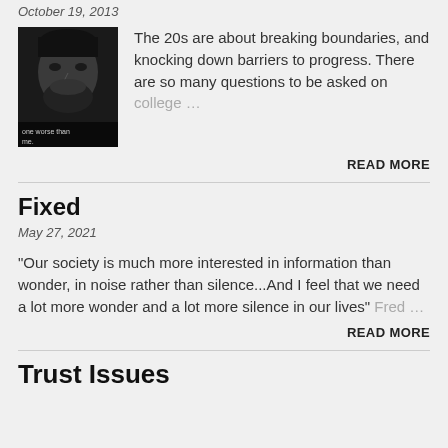October 19, 2013
[Figure (photo): Dark grayscale photo of a man's face with text overlay reading 'one worse than me']
The 20s are about breaking boundaries, and knocking down barriers to progress. There are so many questions to be asked on college …
READ MORE
Fixed
May 27, 2021
"Our society is much more interested in information than wonder, in noise rather than silence...And I feel that we need a lot more wonder and a lot more silence in our lives" Fred …
READ MORE
Trust Issues